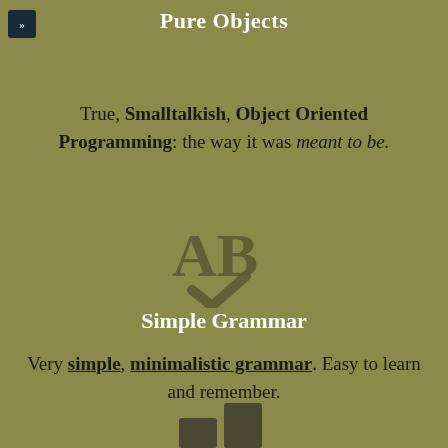Pure Objects
True, Smalltalkish, Object Oriented Programming: the way it was meant to be.
[Figure (illustration): AB letters with a checkmark below, rendered in olive/dark green color]
Simple Grammar
Very simple, minimalistic grammar. Easy to learn and remember.
[Figure (illustration): Two stacked bar chart silhouette icons at bottom of page]